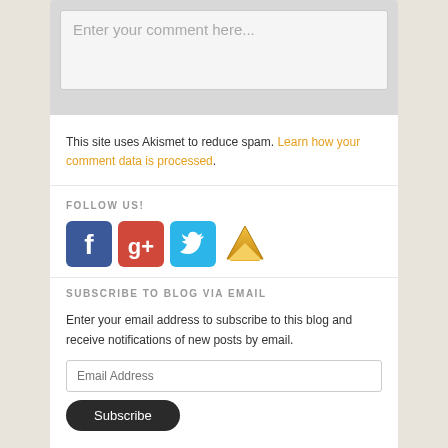Enter your comment here...
This site uses Akismet to reduce spam. Learn how your comment data is processed.
FOLLOW US!
[Figure (illustration): Social media icons: Facebook (blue), Google+ (red), Twitter (cyan), Email/envelope (gold)]
SUBSCRIBE TO BLOG VIA EMAIL
Enter your email address to subscribe to this blog and receive notifications of new posts by email.
Email Address
Subscribe